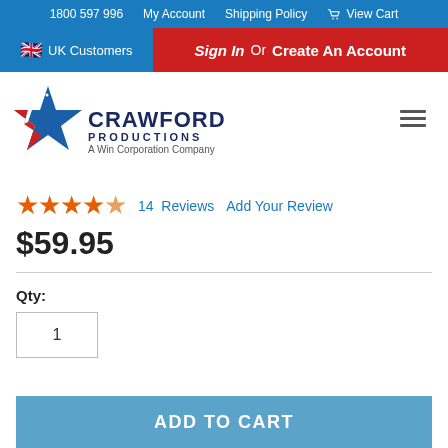1800 597 996   My Account   Shipping Policy   View Cart
UK Customers   Sign In Or Create An Account
[Figure (logo): Crawford Productions logo — blue star with red and white stripes, company name 'CRAWFORD PRODUCTIONS A Win Corporation Company']
★★★★★ 14 Reviews   Add Your Review
$59.95
Qty:
1
ADD TO CART